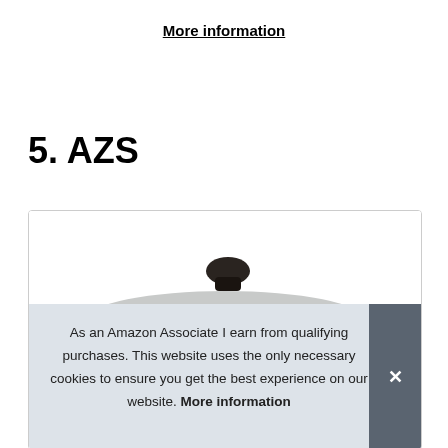More information
5. AZS
[Figure (photo): A cooking pot with a dark knob lid and side handle, shown from above-front angle]
As an Amazon Associate I earn from qualifying purchases. This website uses the only necessary cookies to ensure you get the best experience on our website. More information